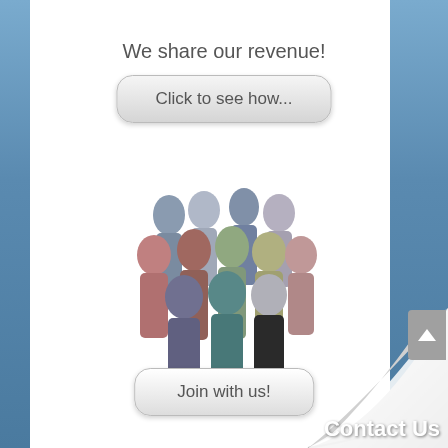We share our revenue!
[Figure (other): Button with text 'Click to see how...' styled with rounded rectangle gray gradient]
[Figure (photo): Group photo of approximately 15 diverse people standing together]
[Figure (other): Button with text 'Join with us!' styled with rounded rectangle gray gradient]
[Figure (other): Page curl effect in the bottom right corner with a dark blue background city scene visible beneath]
Contact Us